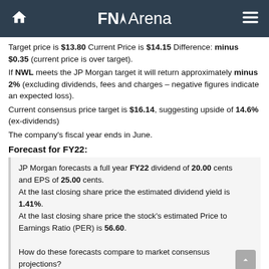FNArena
Target price is $13.80 Current Price is $14.15 Difference: minus $0.35 (current price is over target).
If NWL meets the JP Morgan target it will return approximately minus 2% (excluding dividends, fees and charges – negative figures indicate an expected loss).
Current consensus price target is $16.14, suggesting upside of 14.6% (ex-dividends)
The company's fiscal year ends in June.
Forecast for FY22:
JP Morgan forecasts a full year FY22 dividend of 20.00 cents and EPS of 25.00 cents. At the last closing share price the estimated dividend yield is 1.41%. At the last closing share price the stock's estimated Price to Earnings Ratio (PER) is 56.60. How do these forecasts compare to market consensus projections?